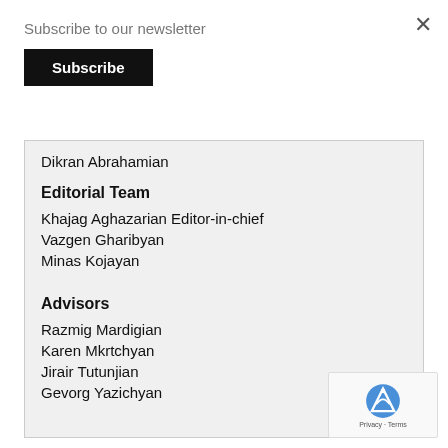×
Subscribe to our newsletter
Subscribe
Dikran Abrahamian
Editorial Team
Khajag Aghazarian Editor-in-chief
Vazgen Gharibyan
Minas Kojayan
Advisors
Razmig Mardigian
Karen Mkrtchyan
Jirair Tutunjian
Gevorg Yazichyan